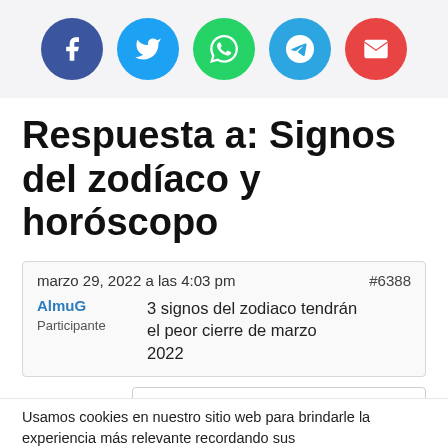[Figure (infographic): Row of five social media share buttons: Facebook (dark blue), Twitter (light blue), WhatsApp (green), Telegram (cyan-blue), Email (red)]
Respuesta a: Signos del zodíaco y horóscopo
marzo 29, 2022 a las 4:03 pm   #6388
AlmuG
Participante
3 signos del zodiaco tendrán el peor cierre de marzo 2022
3 signos del
Usamos cookies en nuestro sitio web para brindarle la experiencia más relevante recordando sus